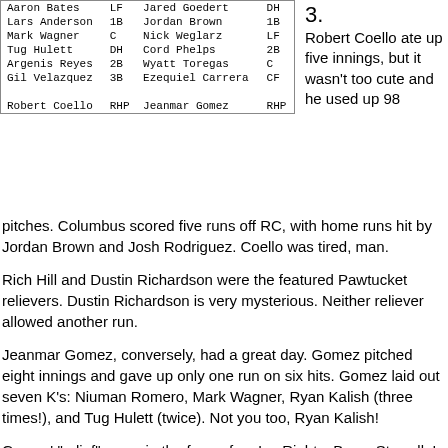| Aaron Bates | LF | Jared Goedert | DH |
| Lars Anderson | 1B | Jordan Brown | 1B |
| Mark Wagner | C | Nick Weglarz | LF |
| Tug Hulett | DH | Cord Phelps | 2B |
| Argenis Reyes | 2B | Wyatt Toregas | C |
| Gil Velazquez | 3B | Ezequiel Carrera | CF |
|  |  |  |  |
| Robert Coello | RHP | Jeanmar Gomez | RHP |
3.
Robert Coello ate up five innings, but it wasn't too cute and he used up 98 pitches. Columbus scored five runs off RC, with home runs hit by Jordan Brown and Josh Rodriguez. Coello was tired, man.
Rich Hill and Dustin Richardson were the featured Pawtucket relievers. Dustin Richardson is very mysterious. Neither reliever allowed another run.
Jeanmar Gomez, conversely, had a great day. Gomez pitched eight innings and gave up only one run on six hits. Gomez laid out seven K's: Niuman Romero, Mark Wagner, Ryan Kalish (three times!), and Tug Hulett (twice). Not you too, Ryan Kalish!
Gomez' "relief" came in the form of an Ice Righty: Bryce Stowell. In the top of the ninth, Stowell got things off to a